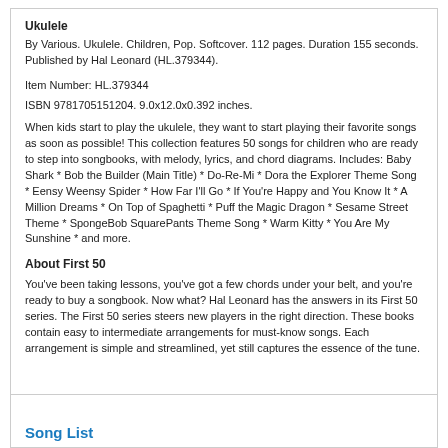Ukulele
By Various. Ukulele. Children, Pop. Softcover. 112 pages. Duration 155 seconds. Published by Hal Leonard (HL.379344).
Item Number: HL.379344
ISBN 9781705151204. 9.0x12.0x0.392 inches.
When kids start to play the ukulele, they want to start playing their favorite songs as soon as possible! This collection features 50 songs for children who are ready to step into songbooks, with melody, lyrics, and chord diagrams. Includes: Baby Shark * Bob the Builder (Main Title) * Do-Re-Mi * Dora the Explorer Theme Song * Eensy Weensy Spider * How Far I'll Go * If You're Happy and You Know It * A Million Dreams * On Top of Spaghetti * Puff the Magic Dragon * Sesame Street Theme * SpongeBob SquarePants Theme Song * Warm Kitty * You Are My Sunshine * and more.
About First 50
You've been taking lessons, you've got a few chords under your belt, and you're ready to buy a songbook. Now what? Hal Leonard has the answers in its First 50 series. The First 50 series steers new players in the right direction. These books contain easy to intermediate arrangements for must-know songs. Each arrangement is simple and streamlined, yet still captures the essence of the tune.
Song List